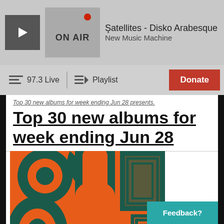Şatellites - Disko Arabesque · New Music Machine · ON AIR
97.3 Live | Playlist | Donate
Top 30 new albums for week ending Jun 28 presents.
Top 30 new albums for week ending Jun 28
[Figure (illustration): Album artwork with orange and teal/dark green abstract geometric and decorative patterns — arabesque style shapes, circles, arches, and angular motifs.]